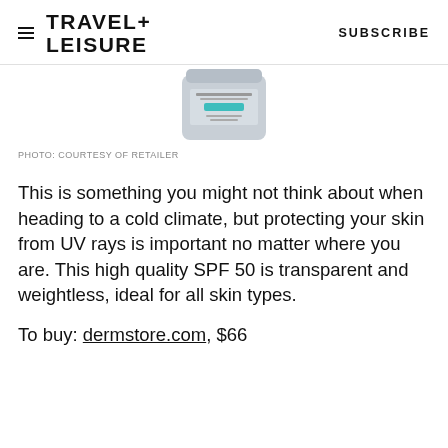TRAVEL+ LEISURE  |  SUBSCRIBE
[Figure (photo): Product photo of a skincare jar (SPF 50 sunscreen) with a grey label and teal accent, partially cropped at top of page.]
PHOTO: COURTESY OF RETAILER
This is something you might not think about when heading to a cold climate, but protecting your skin from UV rays is important no matter where you are. This high quality SPF 50 is transparent and weightless, ideal for all skin types.
To buy: dermstore.com, $66